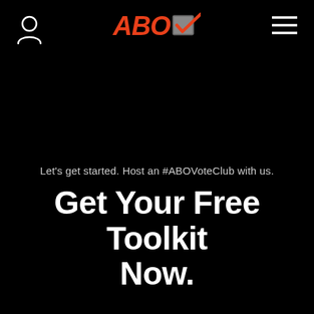ABO [checkbox with checkmark logo]
Let's get started. Host an #ABOVoteClub with us.
Get Your Free Toolkit Now.